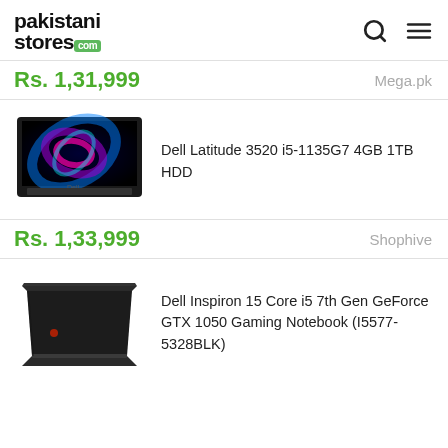pakistanistores.com
Rs. 1,31,999   Mega.pk
[Figure (photo): Dell Latitude 3520 laptop with colorful swirling display]
Dell Latitude 3520 i5-1135G7 4GB 1TB HDD
Rs. 1,33,999   Shophive
[Figure (photo): Dell Inspiron 15 gaming notebook rear view, dark color]
Dell Inspiron 15 Core i5 7th Gen GeForce GTX 1050 Gaming Notebook (I5577-5328BLK)